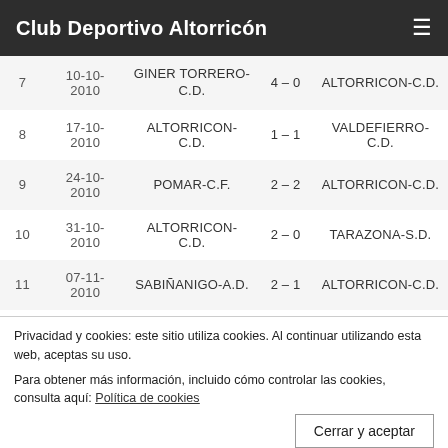Club Deportivo Altorricón
| # | Date | Home | Score | Away |
| --- | --- | --- | --- | --- |
| 7 | 10-10-2010 | GINER TORRERO-C.D. | 4 – 0 | ALTORRICON-C.D. |
| 8 | 17-10-2010 | ALTORRICON-C.D. | 1 – 1 | VALDEFIERRO-C.D. |
| 9 | 24-10-2010 | POMAR-C.F. | 2 – 2 | ALTORRICON-C.D. |
| 10 | 31-10-2010 | ALTORRICON-C.D. | 2 – 0 | TARAZONA-S.D. |
| 11 | 07-11-2010 | SABIÑANIGO-A.D. | 2 – 1 | ALTORRICON-C.D. |
| 12 | 13-11-2010 | ALTORRICON-C.D. | 0 – 1 | BINEFAR-C.D. |
| 13 | 21-11-2010 | TAUSTE-C.D. | 0 – 1 | ALTORRICON-C.D. |
| 14 | 28-11-2010 | ALTORRICON-C.D. | 0 – 0 | SANTA ISABEL-... |
| 15 | 04-12-2010 | BARBASTRO-U.D. | 1 – 1 | ALTORRICON-C.D. |
| 16 | 08-12-2010 | ALTORRICON-C.D. | 1 – 1 | EBRO-C.D. |
Privacidad y cookies: este sitio utiliza cookies. Al continuar utilizando esta web, aceptas su uso. Para obtener más información, incluido cómo controlar las cookies, consulta aquí: Política de cookies